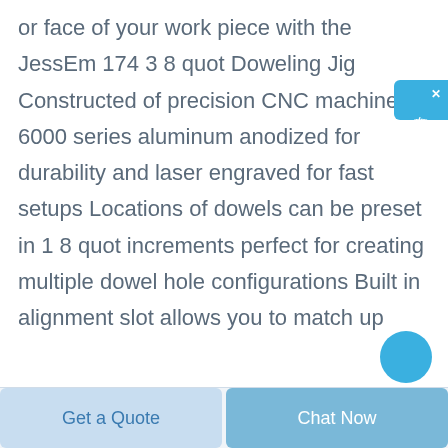or face of your work piece with the JessEm 174 3 8 quot Doweling Jig Constructed of precision CNC machined 6000 series aluminum anodized for durability and laser engraved for fast setups Locations of dowels can be preset in 1 8 quot increments perfect for creating multiple dowel hole configurations Built in alignment slot allows you to match up
[Figure (other): Floating blue Chinese chat widget button on the right side with text '在线咨询' (Online Consultation) and a close X button]
[Figure (other): Blue circular button partially visible at bottom right of the content area]
Get a Quote
Chat Now